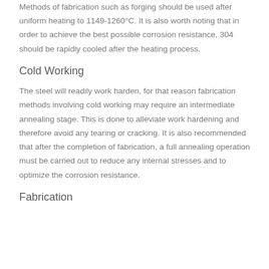Methods of fabrication such as forging should be used after uniform heating to 1149-1260°C. It is also worth noting that in order to achieve the best possible corrosion resistance, 304 should be rapidly cooled after the heating process.
Cold Working
The steel will readily work harden, for that reason fabrication methods involving cold working may require an intermediate annealing stage. This is done to alleviate work hardening and therefore avoid any tearing or cracking. It is also recommended that after the completion of fabrication, a full annealing operation must be carried out to reduce any internal stresses and to optimize the corrosion resistance.
Fabrication